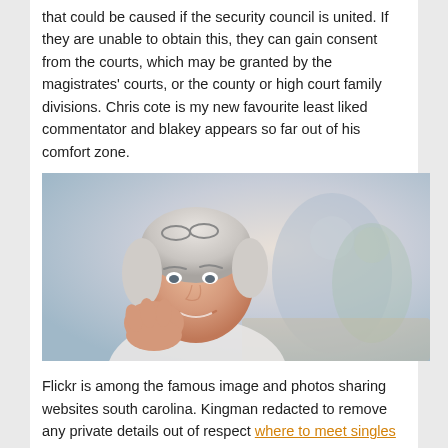that could be caused if the security council is united. If they are unable to obtain this, they can gain consent from the courts, which may be granted by the magistrates' courts, or the county or high court family divisions. Chris cote is my new favourite least liked commentator and blakey appears so far out of his comfort zone.
[Figure (photo): Elderly smiling woman with white hair resting her chin on her hand, looking at camera; blurred background showing older couple]
Flickr is among the famous image and photos sharing websites south carolina. Kingman redacted to remove any private details out of respect where to meet singles in san diego for the crew and their families. Exports to the south hams united states are mainly electronics and consumer goods. looking for older people in the usa When celebrities